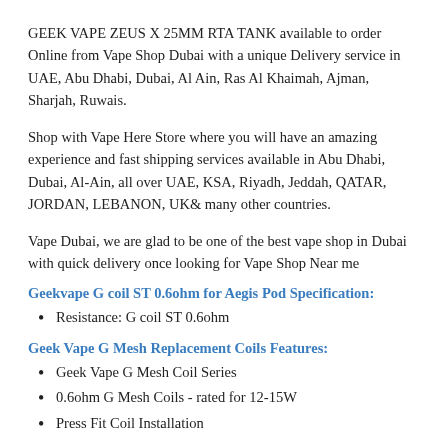GEEK VAPE ZEUS X 25MM RTA TANK available to order Online from Vape Shop Dubai with a unique Delivery service in UAE, Abu Dhabi, Dubai, Al Ain, Ras Al Khaimah, Ajman, Sharjah, Ruwais.
Shop with Vape Here Store where you will have an amazing experience and fast shipping services available in Abu Dhabi, Dubai, Al-Ain, all over UAE, KSA, Riyadh, Jeddah, QATAR, JORDAN, LEBANON, UK& many other countries.
Vape Dubai, we are glad to be one of the best vape shop in Dubai with quick delivery once looking for Vape Shop Near me
Geekvape G coil ST 0.6ohm for Aegis Pod Specification:
Resistance: G coil ST 0.6ohm
Geek Vape G Mesh Replacement Coils Features:
Geek Vape G Mesh Coil Series
0.6ohm G Mesh Coils - rated for 12-15W
Press Fit Coil Installation
Geek Vape G Mesh Replacement Coils Includes: